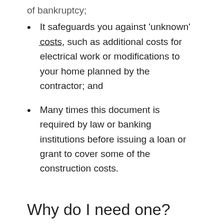of bankruptcy;
It safeguards you against 'unknown' costs, such as additional costs for electrical work or modifications to your home planned by the contractor; and
Many times this document is required by law or banking institutions before issuing a loan or grant to cover some of the construction costs.
Why do I need one?
Even if you don't plan on obtaining financing for your renovations, there's really no reason not to get a performance bond – it could save you more than